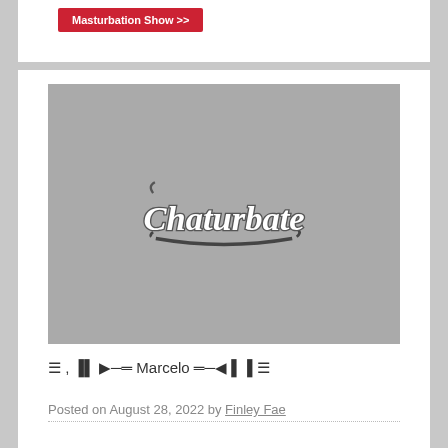[Figure (screenshot): Red button partially visible at top of page with text 'Masturbation Show >>']
[Figure (photo): Gray thumbnail placeholder image with Chaturbate logo watermark in center]
☰, ▐▌▶─═ Marcelo ═─◀▌▐☰
Posted on August 28, 2022 by Finley Fae